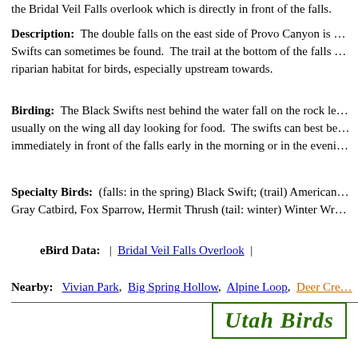the Bridal Veil Falls overlook which is directly in front of the falls.
Description: The double falls on the east side of Provo Canyon is … Swifts can sometimes be found. The trail at the bottom of the falls … riparian habitat for birds, especially upstream towards.
Birding: The Black Swifts nest behind the water fall on the rock le… usually on the wing all day looking for food. The swifts can best be… immediately in front of the falls early in the morning or in the eveni…
Specialty Birds: (falls: in the spring) Black Swift; (trail) American… Gray Catbird, Fox Sparrow, Hermit Thrush (tail: winter) Winter Wr…
eBird Data: | Bridal Veil Falls Overlook |
Nearby: Vivian Park, Big Spring Hollow, Alpine Loop, Deer Cre…
[Figure (logo): Utah Birds logo in dark green italic bold text inside a green border box]